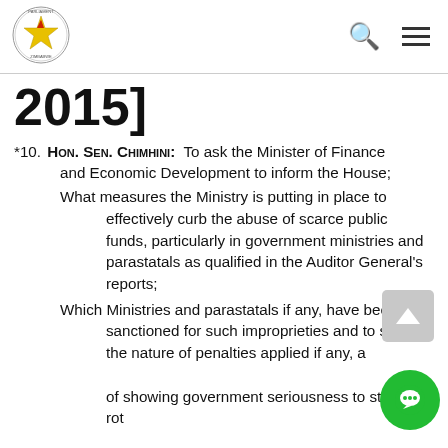Parliament of Zimbabwe
2015]
*10. HON. SEN. CHIMHINI:  To ask the Minister of Finance and Economic Development to inform the House; What measures the Ministry is putting in place to effectively curb the abuse of scarce public funds, particularly in government ministries and parastatals as qualified in the Auditor General's reports; Which Ministries and parastatals if any, have been sanctioned for such improprieties and to state the nature of penalties applied if any, and as a way of showing government seriousness to stop the rot